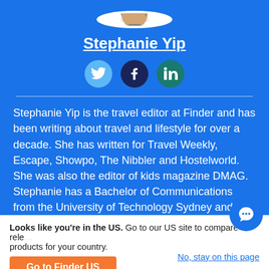[Figure (photo): Circular profile photo of Stephanie Yip, a woman with long dark hair]
Stephanie Yip
[Figure (infographic): Social media icons: Twitter (bird), Facebook (f), LinkedIn (in)]
Stephanie Yip is the travel editor at Finder and has been writing about travel and lifestyle for over a decade. She has written for Travel Weekly, Escape, Showpo, The Nibbler and Hostelworld. She was also the editor of kids magazine DMAG. Stephanie has a Bachelor of Communications from the University of Technology Sydney and
Looks like you're in the US. Go to our US site to compare relevant products for your country.
Go to Finder US
No, stay on this page